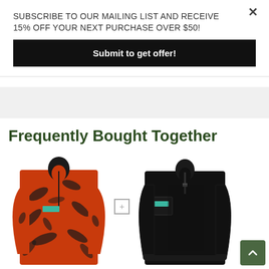SUBSCRIBE TO OUR MAILING LIST AND RECEIVE 15% OFF YOUR NEXT PURCHASE OVER $50!
Submit to get offer!
Frequently Bought Together
[Figure (photo): Orange and black tropical print half-zip pullover jacket]
[Figure (photo): Black fleece half-zip pullover with teal logo badge and chest pocket]